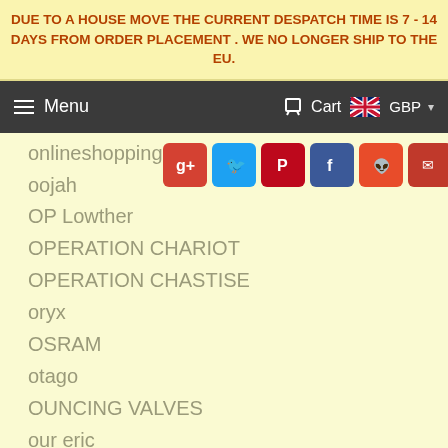DUE TO A HOUSE MOVE THE CURRENT DESPATCH TIME IS 7 - 14 DAYS FROM ORDER PLACEMENT . WE NO LONGER SHIP TO THE EU.
Menu   Cart   GBP
onlineshopping
oojah
OP Lowther
OPERATION CHARIOT
OPERATION CHASTISE
oryx
OSRAM
otago
OUNCING VALVES
our eric
overheated valve